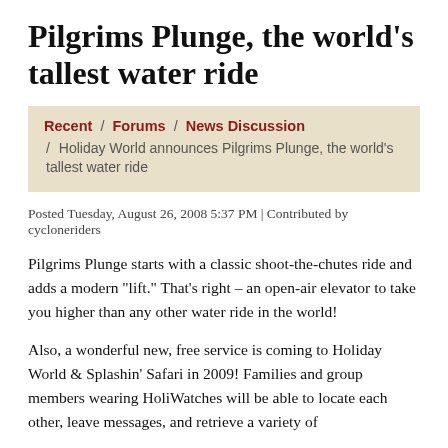Pilgrims Plunge, the world's tallest water ride
Recent / Forums / News Discussion / Holiday World announces Pilgrims Plunge, the world's tallest water ride
Posted Tuesday, August 26, 2008 5:37 PM | Contributed by cycloneriders
Pilgrims Plunge starts with a classic shoot-the-chutes ride and adds a modern "lift." That's right – an open-air elevator to take you higher than any other water ride in the world!
Also, a wonderful new, free service is coming to Holiday World & Splashin' Safari in 2009! Families and group members wearing HoliWatches will be able to locate each other, leave messages, and retrieve a variety of